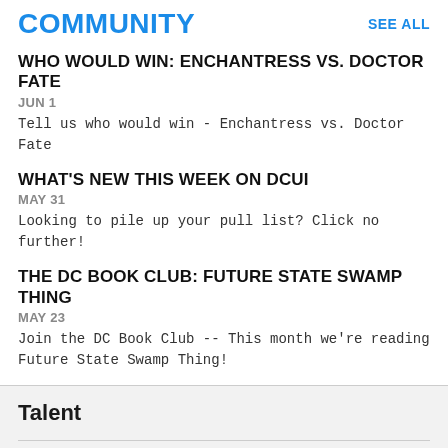COMMUNITY
SEE ALL
WHO WOULD WIN: ENCHANTRESS VS. DOCTOR FATE
JUN 1
Tell us who would win - Enchantress vs. Doctor Fate
WHAT'S NEW THIS WEEK ON DCUI
MAY 31
Looking to pile up your pull list? Click no further!
THE DC BOOK CLUB: FUTURE STATE SWAMP THING
MAY 23
Join the DC Book Club -- This month we're reading Future State Swamp Thing!
Talent
Colorist